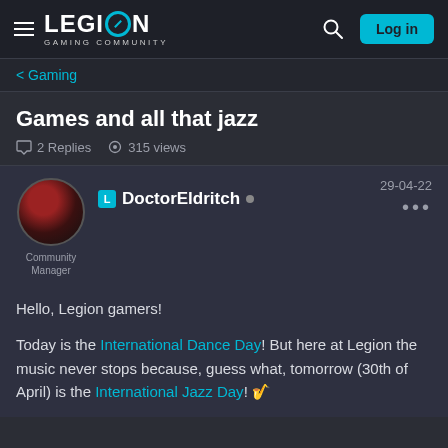LEGION GAMING COMMUNITY | Log in
< Gaming
Games and all that jazz
2 Replies   315 views
DoctorEldritch  •  Community Manager  29-04-22
Hello, Legion gamers!

Today is the International Dance Day! But here at Legion the music never stops because, guess what, tomorrow (30th of April) is the International Jazz Day! 🎷